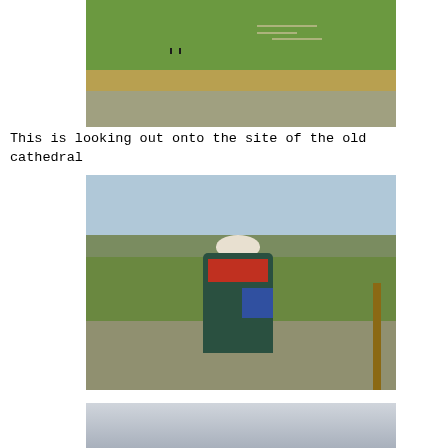[Figure (photo): Aerial-style view looking out over a green field with archaeological ruins/foundations visible as low stone walls or outlines in the grass. Dry reed grass and limestone rubble wall in foreground.]
This is looking out onto the site of the old cathedral
[Figure (photo): Elderly woman with white hair, wearing a teal/green coat and red scarf, standing among old stone ruins with a blue bag across her shoulder, reading something. Green countryside visible in background.]
[Figure (photo): Partial view of a grey/silver surface, possibly a building interior or metallic surface, at the bottom of the page.]